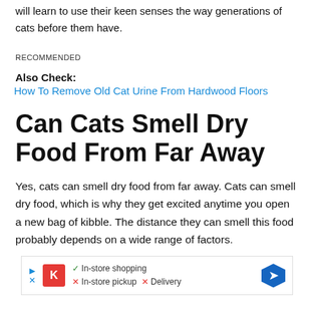will learn to use their keen senses the way generations of cats before them have.
RECOMMENDED
Also Check:
How To Remove Old Cat Urine From Hardwood Floors
Can Cats Smell Dry Food From Far Away
Yes, cats can smell dry food from far away. Cats can smell dry food, which is why they get excited anytime you open a new bag of kibble. The distance they can smell this food probably depends on a wide range of factors.
[Figure (other): Advertisement banner with Kroger logo, showing In-store shopping (checkmark), In-store pickup (X), Delivery (X), and a blue navigation arrow icon.]